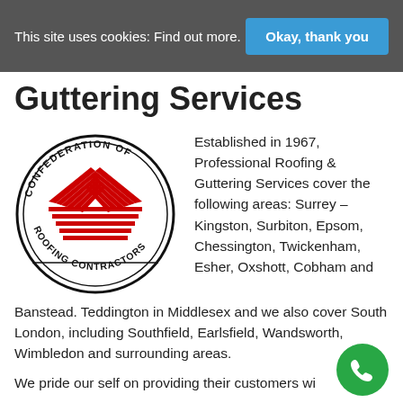This site uses cookies: Find out more.
Okay, thank you
Guttering Services
[Figure (logo): Confederation of Roofing Contractors circular logo with red roof/house graphic in the center]
Established in 1967, Professional Roofing & Guttering Services cover the following areas: Surrey – Kingston, Surbiton, Epsom, Chessington, Twickenham, Esher, Oxshott, Cobham and Banstead. Teddington in Middlesex and we also cover South London, including Southfield, Earlsfield, Wandsworth, Wimbledon and surrounding areas.
We pride our self on providing their customers with